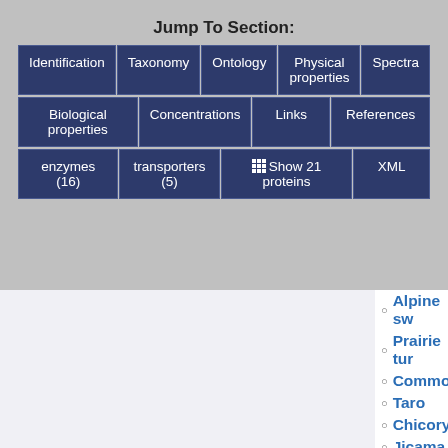Jump To Section:
| Identification | Taxonomy | Ontology | Physical properties | Spectra |
| Biological properties | Concentrations | Links | References |  |
| enzymes (16) | transporters (5) | Show 21 proteins | XML |  |
Alpine sw...
Prairie tur...
Common...
Taro
Chicory
Jicama
Black sals...
Thistle
Wild carro...
Stalk vegetables
Garden rh...
Celery sta...
Alaska wi...
Tubers